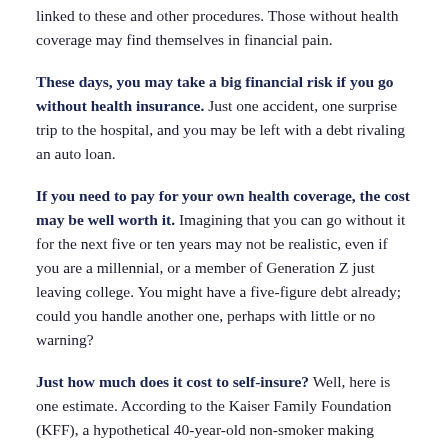linked to these and other procedures. Those without health coverage may find themselves in financial pain.
These days, you may take a big financial risk if you go without health insurance. Just one accident, one surprise trip to the hospital, and you may be left with a debt rivaling an auto loan.
If you need to pay for your own health coverage, the cost may be well worth it. Imagining that you can go without it for the next five or ten years may not be realistic, even if you are a millennial, or a member of Generation Z just leaving college. You might have a five-figure debt already; could you handle another one, perhaps with little or no warning?
Just how much does it cost to self-insure? Well, here is one estimate. According to the Kaiser Family Foundation (KFF), a hypothetical 40-year-old non-smoker making $30,000 per year is estimated...